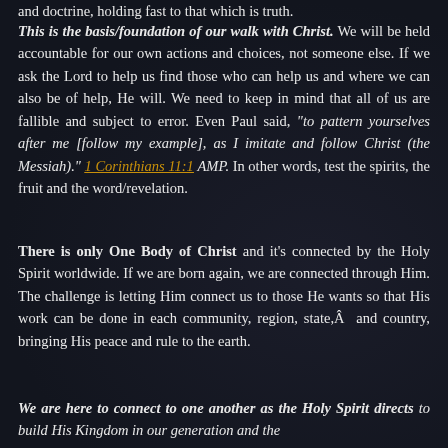and doctrine, holding fast to that which is truth.
This is the basis/foundation of our walk with Christ. We will be held accountable for our own actions and choices, not someone else. If we ask the Lord to help us find those who can help us and where we can also be of help, He will. We need to keep in mind that all of us are fallible and subject to error. Even Paul said, "to pattern yourselves after me [follow my example], as I imitate and follow Christ (the Messiah)." 1 Corinthians 11:1 AMP. In other words, test the spirits, the fruit and the word/revelation.
There is only One Body of Christ and it's connected by the Holy Spirit worldwide. If we are born again, we are connected through Him. The challenge is letting Him connect us to those He wants so that His work can be done in each community, region, state,Â  and country, bringing His peace and rule to the earth.
We are here to connect to one another as the Holy Spirit directs to build His Kingdom in our generation and the